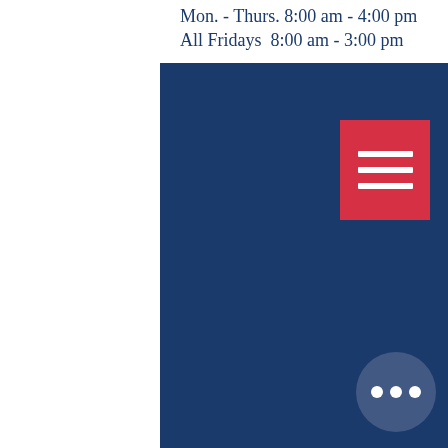Mon. - Thurs. 8:00 am - 4:00 pm
All Fridays  8:00 am - 3:00 pm
[Figure (screenshot): Red hamburger menu button with three white horizontal bars, positioned in upper right of blue area]
[Figure (screenshot): Circular dark blue button with three white dots (ellipsis), positioned in lower right of blue area]